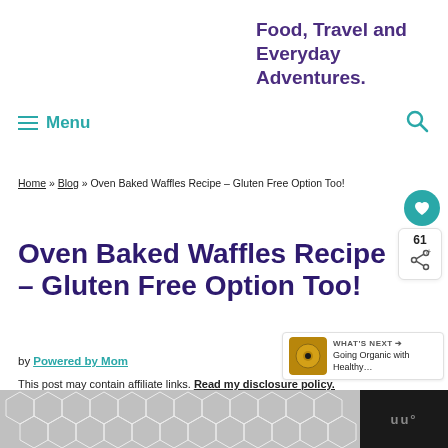Food, Travel and Everyday Adventures.
≡ Menu
Home » Blog » Oven Baked Waffles Recipe – Gluten Free Option Too!
Oven Baked Waffles Recipe – Gluten Free Option Too!
by Powered by Mom
This post may contain affiliate links. Read my disclosure policy.
[Figure (other): Decorative hexagonal pattern banner at bottom of page]